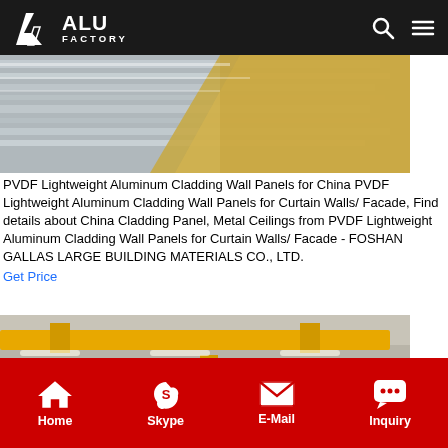ALU FACTORY
[Figure (photo): Close-up photo of aluminum sheets or panels with kraft paper/cardboard packaging material visible]
PVDF Lightweight Aluminum Cladding Wall Panels for China PVDF Lightweight Aluminum Cladding Wall Panels for Curtain Walls/ Facade, Find details about China Cladding Panel, Metal Ceilings from PVDF Lightweight Aluminum Cladding Wall Panels for Curtain Walls/ Facade - FOSHAN GALLAS LARGE BUILDING MATERIALS CO., LTD.
Get Price
[Figure (photo): Factory interior showing yellow overhead crane beams and large aluminum coil rolls on the floor]
Home  Skype  E-Mail  Inquiry